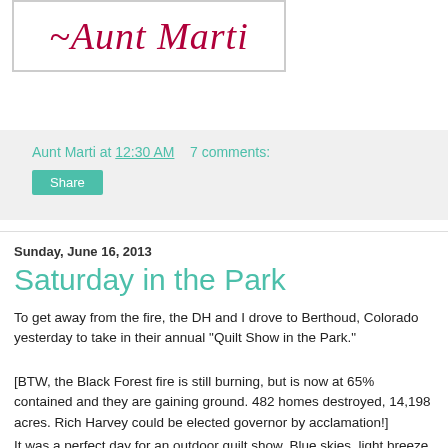[Figure (logo): Blog logo with cursive text '~Aunt Marti' in dark red/maroon italic font inside a rectangular border]
Aunt Marti at 12:30 AM   7 comments:
Share
Sunday, June 16, 2013
Saturday in the Park
To get away from the fire, the DH and I drove to Berthoud, Colorado yesterday to take in their annual "Quilt Show in the Park."
[BTW, the Black Forest fire is still burning, but is now at 65% contained and they are gaining ground. 482 homes destroyed, 14,198 acres. Rich Harvey could be elected governor by acclamation!]
It was a perfect day for an outdoor quilt show. Blue skies, light breeze, temperatures in the mid 70s!